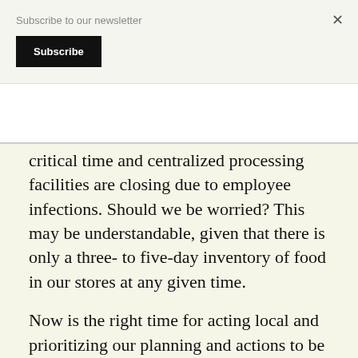Subscribe to our newsletter
Subscribe
×
critical time and centralized processing facilities are closing due to employee infections. Should we be worried? This may be understandable, given that there is only a three- to five-day inventory of food in our stores at any given time.
Now is the right time for acting local and prioritizing our planning and actions to be less reliant on food imports. It wasn't very long ago that we were fairly self-sufficient. Backyard